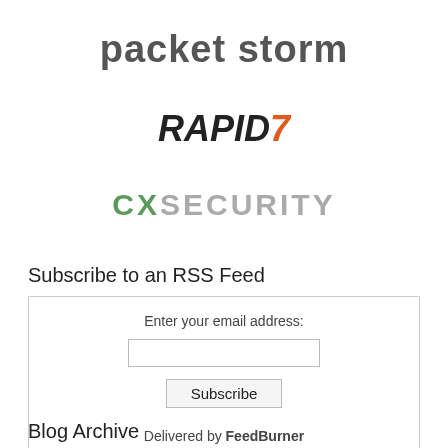[Figure (logo): Packet Storm logo in gray bold text]
[Figure (logo): Rapid7 logo in black bold italic with orange 7]
[Figure (logo): CXSecurity logo with green CX and gray SECURITY text]
Subscribe to an RSS Feed
Enter your email address:
Subscribe
Delivered by FeedBurner
Blog Archive